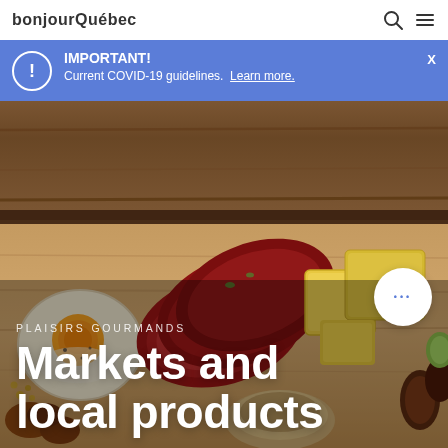bonjourQuébec
IMPORTANT! Current COVID-19 guidelines. Learn more.
[Figure (photo): Food spread on a wooden board: sliced cured meats, a halved boiled egg, yellow cheese cubes, dried fruits, and other charcuterie items on a rustic wooden surface]
PLAISIRS GOURMANDS
Markets and local products